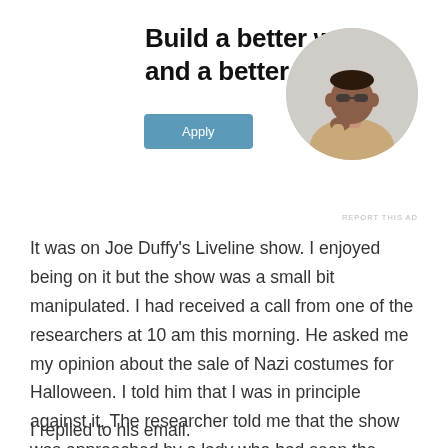Build a better web and a better world.
[Figure (illustration): Advertisement with an Apply button and a circular photo of a man thinking, resting his chin on his hand]
It was on Joe Duffy's Liveline show. I enjoyed being on it but the show was a small bit manipulated. I had received a call from one of the researchers at 10 am this morning. He asked me my opinion about the sale of Nazi costumes for Halloween. I told him that I was in principle against it, The researcher told me that the show was approached by a lady who had seen the costumes, and he sent me a link.
I replied to his email.